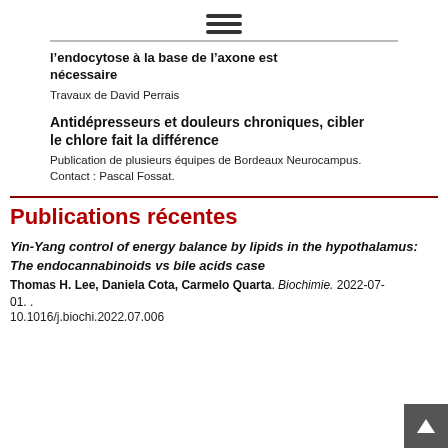[Figure (other): Hamburger menu icon with three horizontal lines]
l’endocytose à la base de l’axone est nécessaire
Travaux de David Perrais
Antidépresseurs et douleurs chroniques, cibler le chlore fait la différence
Publication de plusieurs équipes de Bordeaux Neurocampus. Contact : Pascal Fossat.
Publications récentes
Yin-Yang control of energy balance by lipids in the hypothalamus: The endocannabinoids vs bile acids case
Thomas H. Lee, Daniela Cota, Carmelo Quarta. Biochimie. 2022-07-01. .
10.1016/j.biochi.2022.07.006